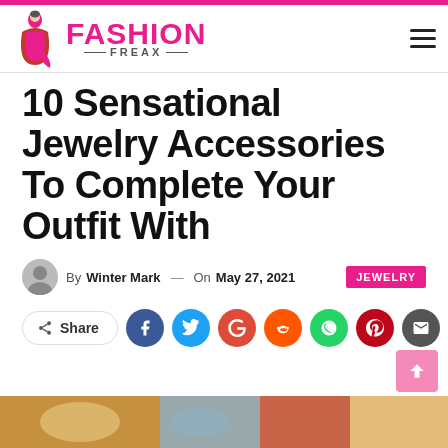Fashion Freax
10 Sensational Jewelry Accessories To Complete Your Outfit With
By Winter Mark — On May 27, 2021  JEWELRY
[Figure (other): Social share buttons row: Share, Facebook, Twitter, Google+, Reddit, WhatsApp, Pinterest, Email]
[Figure (photo): Bottom image strip showing jewelry accessories]